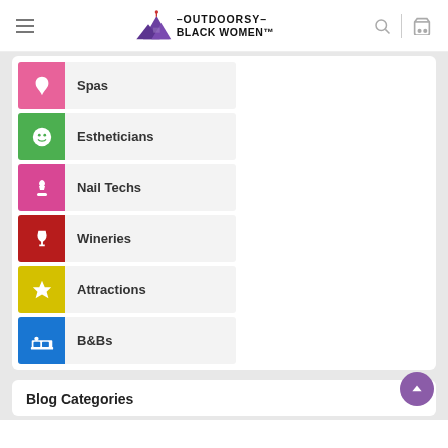Outdoorsy Black Women
Spas
Estheticians
Nail Techs
Wineries
Attractions
B&Bs
Blog Categories